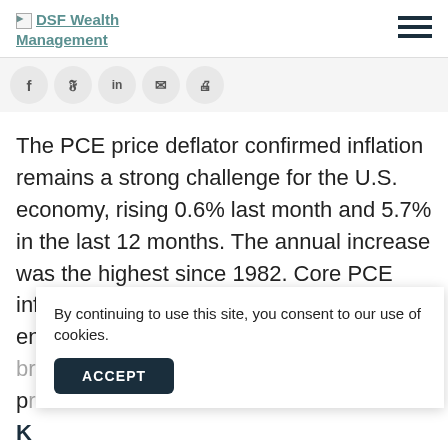DSF Wealth Management
[Figure (other): Social sharing icons: Facebook, Twitter, LinkedIn, Email, Print]
The PCE price deflator confirmed inflation remains a strong challenge for the U.S. economy, rising 0.6% last month and 5.7% in the last 12 months. The annual increase was the highest since 1982. Core PCE inflation rose 0.5%, suggesting food and energy prices rose only slightly more than broad consumer prices.
By continuing to use this site, you consent to our use of cookies.